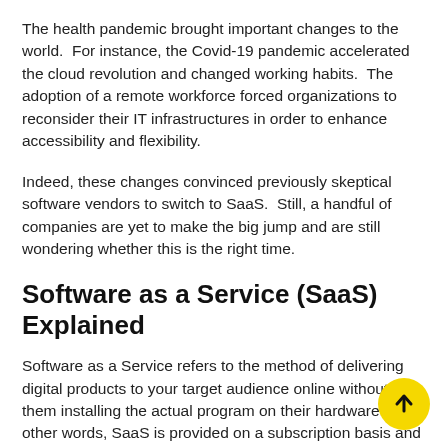The health pandemic brought important changes to the world.  For instance, the Covid-19 pandemic accelerated the cloud revolution and changed working habits.  The adoption of a remote workforce forced organizations to reconsider their IT infrastructures in order to enhance accessibility and flexibility.
Indeed, these changes convinced previously skeptical software vendors to switch to SaaS.  Still, a handful of companies are yet to make the big jump and are still wondering whether this is the right time.
Software as a Service (SaaS) Explained
Software as a Service refers to the method of delivering digital products to your target audience online without them installing the actual program on their hardware.  In other words, SaaS is provided on a subscription basis and wi...